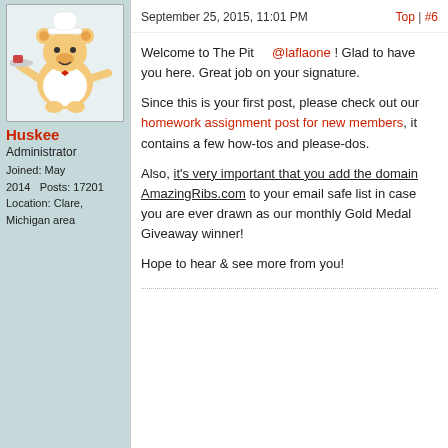[Figure (illustration): Cartoon teddy bear dressed as a waiter holding a serving tray]
Huskee
Administrator
Joined: May 2014   Posts: 17201
Location: Clare, Michigan area
September 25, 2015, 11:01 PM
Top | #6
Welcome to The Pit    @laflaone ! Glad to have you here. Great job on your signature.

Since this is your first post, please check out our homework assignment post for new members, it contains a few how-tos and please-dos.

Also, it's very important that you add the domain AmazingRibs.com to your email safe list in case you are ever drawn as our monthly Gold Medal Giveaway winner!

Hope to hear & see more from you!